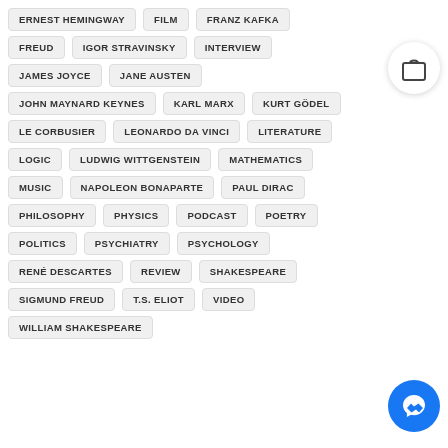ERNEST HEMINGWAY
FILM
FRANZ KAFKA
FREUD
IGOR STRAVINSKY
INTERVIEW
JAMES JOYCE
JANE AUSTEN
JOHN MAYNARD KEYNES
KARL MARX
KURT GÖDEL
LE CORBUSIER
LEONARDO DA VINCI
LITERATURE
LOGIC
LUDWIG WITTGENSTEIN
MATHEMATICS
MUSIC
NAPOLEON BONAPARTE
PAUL DIRAC
PHILOSOPHY
PHYSICS
PODCAST
POETRY
POLITICS
PSYCHIATRY
PSYCHOLOGY
RENÉ DESCARTES
REVIEW
SHAKESPEARE
SIGMUND FREUD
T.S. ELIOT
VIDEO
WILLIAM SHAKESPEARE